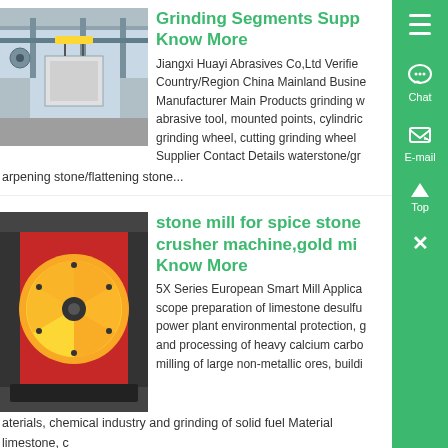[Figure (photo): Industrial factory interior with overhead crane and large suspended equipment, steel structure ceiling]
Grinding Segments Supp Know More
Jiangxi Huayi Abrasives Co,Ltd Verified Country/Region China Mainland Business Manufacturer Main Products grinding w abrasive tool, mounted points, cylindric grinding wheel, cutting grinding wheel Supplier Contact Details waterstone/gr arpening stone/flattening stone...
[Figure (photo): Industrial stone mill or crusher machine with red housing and yellow grinding disc/rotor]
stone mill for spice stone crusher machine,gold mi Know More
5X Series European Smart Mill Applica scope preparation of limestone desulfu power plant environmental protection, g and processing of heavy calcium carbo milling of large non-metallic ores, buildi aterials, chemical industry and grinding of solid fuel Material limestone, c icklime, marblo, dolomite...